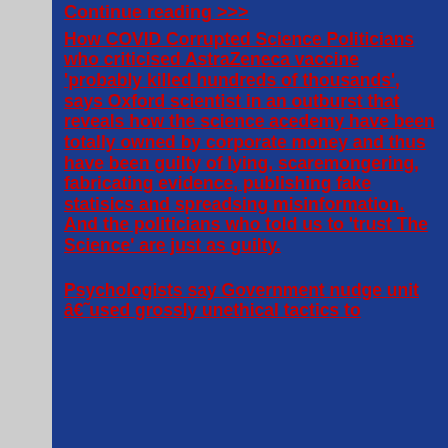Continue reading >>>
How COVID Corrupted Science Politicians who criticised AstraZeneca vaccine 'probably killed hundreds of thousands', says Oxford scientist in an outburst that reveals how the science acedemy have been totally owned by corporate money and thus have been guilty of lying, scaremongering, fabricating evidence, publishing fake statisics and spreadsing misinformation. And the politicians who told us to 'trust The Science' are just as guilty.
Psychologists say Government nudge unit â€˜used grossly unethical tactics to...